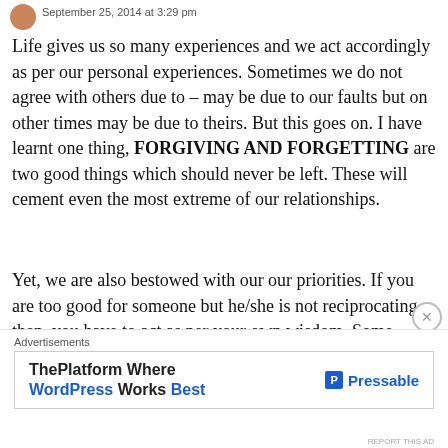September 25, 2014 at 3:29 pm
Life gives us so many experiences and we act accordingly as per our personal experiences. Sometimes we do not agree with others due to – may be due to our faults but on other times may be due to theirs. But this goes on. I have learnt one thing, FORGIVING AND FORGETTING are two good things which should never be left. These will cement even the most extreme of our relationships.
Yet, we are also bestowed with our our priorities. If you are too good for someone but he/she is not reciprocating, then, you have to act as per your own wisdom. Some relations may not stand while those
[Figure (screenshot): Advertisement banner for Pressable - ThePlatform Where WordPress Works Best]